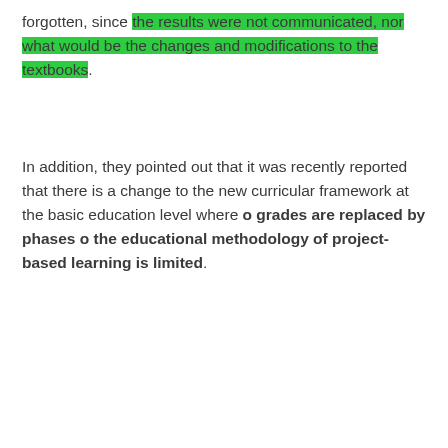forgotten, since the results were not communicated, nor what would be the changes and modifications to the textbooks.
In addition, they pointed out that it was recently reported that there is a change to the new curricular framework at the basic education level where o grades are replaced by phases o the educational methodology of project-based learning is limited.